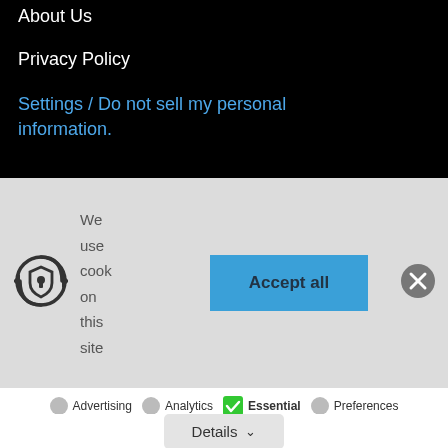About Us
Privacy Policy
Settings / Do not sell my personal information.
[Figure (logo): Privacy/security icon: circular arrows around a shield with keyhole]
We use cook on this site
[Figure (screenshot): Accept all button (blue)]
[Figure (screenshot): Close button (gray circle with X)]
Advertising
Analytics
Essential
Preferences
Details